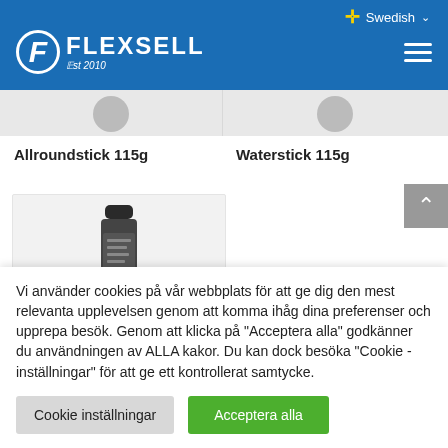[Figure (screenshot): Flexsell website header with blue background, logo (F FLEXSELL Est 2010), Swedish language selector, and hamburger menu icon]
Allroundstick 115g
Waterstick 115g
[Figure (photo): Product image of a cylindrical stick product in dark/black packaging]
Vi använder cookies på vår webbplats för att ge dig den mest relevanta upplevelsen genom att komma ihåg dina preferenser och upprepa besök. Genom att klicka på "Acceptera alla" godkänner du användningen av ALLA kakor. Du kan dock besöka "Cookie -inställningar" för att ge ett kontrollerat samtycke.
Cookie inställningar
Acceptera alla